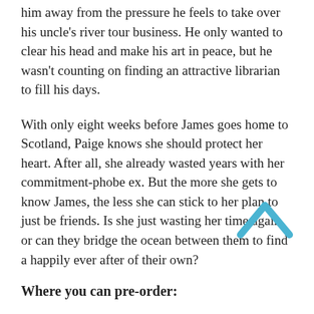him away from the pressure he feels to take over his uncle's river tour business. He only wanted to clear his head and make his art in peace, but he wasn't counting on finding an attractive librarian to fill his days.
With only eight weeks before James goes home to Scotland, Paige knows she should protect her heart. After all, she already wasted years with her commitment-phobe ex. But the more she gets to know James, the less she can stick to her plan to just be friends. Is she just wasting her time again, or can they bridge the ocean between them to find a happily ever after of their own?
Where you can pre-order:
Readers who pre-order, can win a fun prize